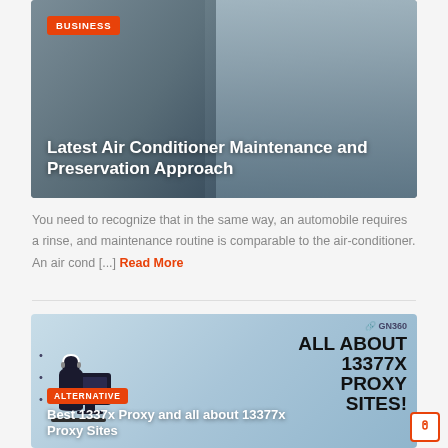[Figure (photo): Photo of a man maintaining or inspecting an air conditioner unit, with badge overlay saying BUSINESS and title overlay]
Latest Air Conditioner Maintenance and Preservation Approach
You need to recognize that in the same way, an automobile requires a rinse, and maintenance routine is comparable to the air-conditioner. An air cond [...] Read More
[Figure (illustration): Illustration showing a person at a computer with text ALL ABOUT 13377X PROXY SITES and GN360 logo, with badge overlay ALTERNATIVE and title overlay]
Best 1337x Proxy and all about 13377x Proxy Sites